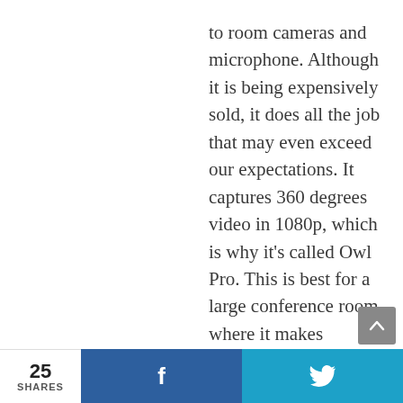to room cameras and microphone. Although it is being expensively sold, it does all the job that may even exceed our expectations. It captures 360 degrees video in 1080p, which is why it's called Owl Pro. This is best for a large conference room where it makes collaboration seamless and better. Take note, it
25 SHARES  [Facebook share]  [Twitter share]